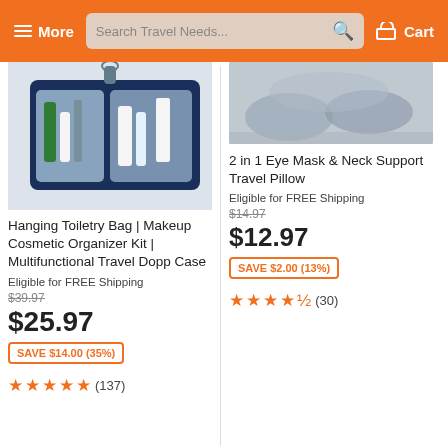More | Search Travel Needs... | Cart
[Figure (photo): Hanging toiletry bag open with cosmetics inside, hung on a hook]
Hanging Toiletry Bag | Makeup Cosmetic Organizer Kit | Multifunctional Travel Dopp Case
Eligible for FREE Shipping
$39.97
$25.97
SAVE $14.00 (35%)
(137)
[Figure (photo): 2-in-1 eye mask and neck support travel pillow shown on a person]
2 in 1 Eye Mask & Neck Support Travel Pillow
Eligible for FREE Shipping
$14.97
$12.97
SAVE $2.00 (13%)
(30)